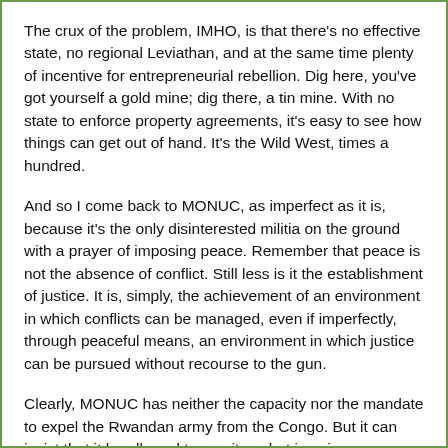The crux of the problem, IMHO, is that there's no effective state, no regional Leviathan, and at the same time plenty of incentive for entrepreneurial rebellion. Dig here, you've got yourself a gold mine; dig there, a tin mine. With no state to enforce property agreements, it's easy to see how things can get out of hand. It's the Wild West, times a hundred.
And so I come back to MONUC, as imperfect as it is, because it's the only disinterested militia on the ground with a prayer of imposing peace. Remember that peace is not the absence of conflict. Still less is it the establishment of justice. It is, simply, the achievement of an environment in which conflicts can be managed, even if imperfectly, through peaceful means, an environment in which justice can be pursued without recourse to the gun.
Clearly, MONUC has neither the capacity nor the mandate to expel the Rwandan army from the Congo. But it can insist that it be allowed to monitor what is going on. Kagame should be asked to account in a timely manner for what his troops are doing, and provide clear, realistic, and verifiable objectives and timetables for the operation. A proud man